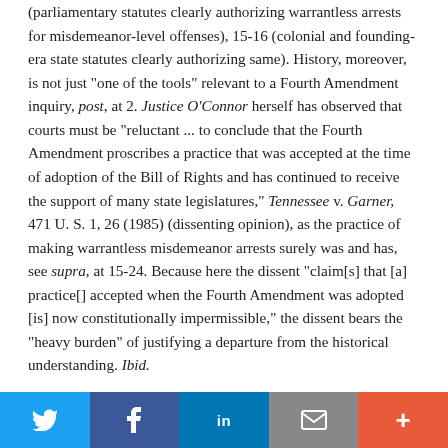(parliamentary statutes clearly authorizing warrantless arrests for misdemeanor-level offenses), 15-16 (colonial and founding-era state statutes clearly authorizing same). History, moreover, is not just "one of the tools" relevant to a Fourth Amendment inquiry, post, at 2. Justice O'Connor herself has observed that courts must be "reluctant ... to conclude that the Fourth Amendment proscribes a practice that was accepted at the time of adoption of the Bill of Rights and has continued to receive the support of many state legislatures," Tennessee v. Garner, 471 U. S. 1, 26 (1985) (dissenting opinion), as the practice of making warrantless misdemeanor arrests surely was and has, see supra, at 15-24. Because here the dissent "claim[s] that [a] practice[] accepted when the Fourth Amendment was adopted [is] now constitutionally impermissible," the dissent bears the "heavy burden" of justifying a departure from the historical understanding. Ibid.
Twitter | Facebook | LinkedIn | Email | More